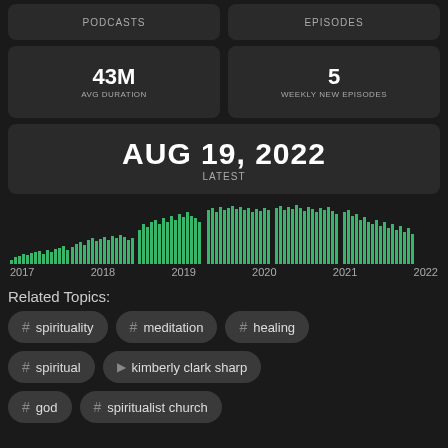PODCASTS | EPISODES
43M AVG DURATION | 5 WEEKLY NEW EPISODES
AUG 19, 2022 LATEST
[Figure (bar-chart): Episodes over time 2017-2022]
Related Topics:
# spirituality
# meditation
# healing
# spiritual
person kimberly clark sharp
# god
# spiritualist church